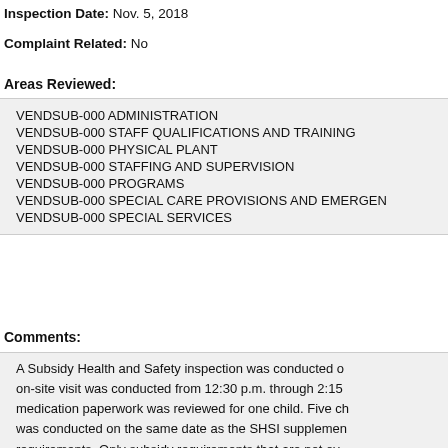Inspection Date: Nov. 5, 2018
Complaint Related: No
Areas Reviewed:
VENDSUB-000 ADMINISTRATION
VENDSUB-000 STAFF QUALIFICATIONS AND TRAINING
VENDSUB-000 PHYSICAL PLANT
VENDSUB-000 STAFFING AND SUPERVISION
VENDSUB-000 PROGRAMS
VENDSUB-000 SPECIAL CARE PROVISIONS AND EMERGENCIES
VENDSUB-000 SPECIAL SERVICES
Comments:
A Subsidy Health and Safety inspection was conducted on-site visit was conducted from 12:30 p.m. through 2:15 medication paperwork was reviewed for one child. Five ch was conducted on the same date as the SHSI supplement requirements. Only subsidy requirements that are not ov violations of the supplemental subsidy health and safety 17, 2018. The facility has not yet complied with the following for child day center vendors 22VAC40-665-500. Operationa requirements for staff 22VAC40-665-580. Staff training an review the new requirements and work with their assigned washing/bathroom procedures, moxie table cleaning...